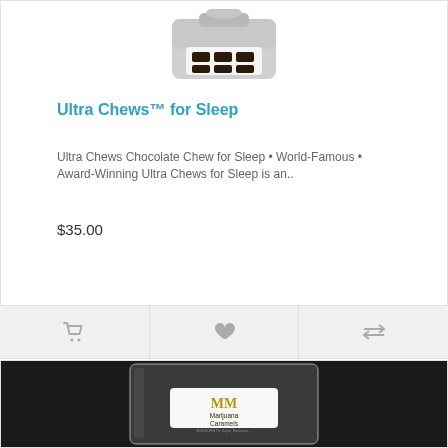[Figure (photo): Product photo of Ultra Chews for Sleep chocolate chews on a white tray with dark squares, placed on a silver surface]
Ultra Chews™ for Sleep
Ultra Chews Chocolate Chew for Sleep • World-Famous • Award-Winning Ultra Chews for Sleep is an..
$35.00
[Figure (infographic): Action bar with three icon buttons: shopping cart, heart/wishlist, and compare arrows]
[Figure (photo): Product photo of MM Marijuana Caramels in a clear vacuum-sealed package with a white label showing MM logo in gold letters]